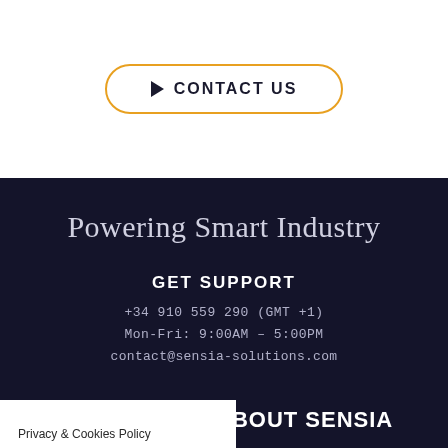[Figure (other): CONTACT US button with orange rounded border and play triangle icon]
Powering Smart Industry
GET SUPPORT
+34 910 559 290 (GMT +1)
Mon-Fri: 9:00AM – 5:00PM
contact@sensia-solutions.com
Privacy & Cookies Policy
ABOUT SENSIA